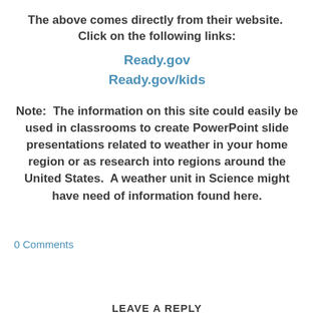The above comes directly from their website.  Click on the following links:
Ready.gov
Ready.gov/kids
Note:  The information on this site could easily be used in classrooms to create PowerPoint slide presentations related to weather in your home region or as research into regions around the United States.  A weather unit in Science might have need of information found here.
0 Comments
LEAVE A REPLY